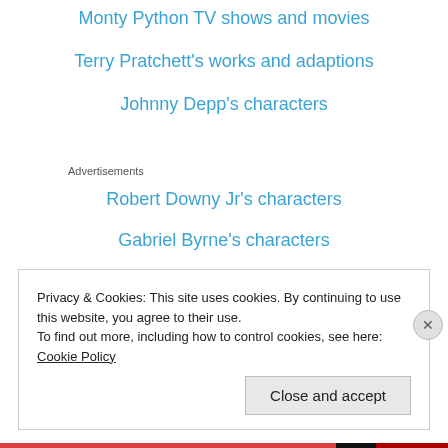Monty Python TV shows and movies
Terry Pratchett's works and adaptions
Johnny Depp's characters
Advertisements
Robert Downy Jr's characters
Gabriel Byrne's characters
Privacy & Cookies: This site uses cookies. By continuing to use this website, you agree to their use.
To find out more, including how to control cookies, see here: Cookie Policy
Close and accept